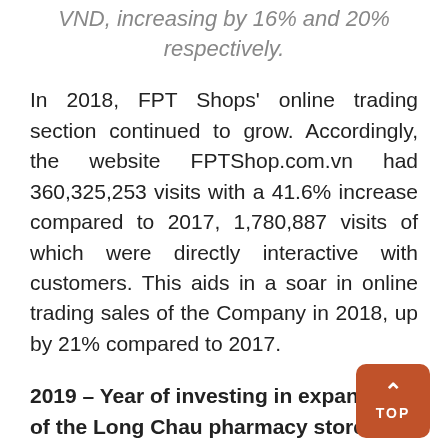VND, increasing by 16% and 20% respectively.
In 2018, FPT Shops' online trading section continued to grow. Accordingly, the website FPTShop.com.vn had 360,325,253 visits with a 41.6% increase compared to 2017, 1,780,887 visits of which were directly interactive with customers. This aids in a soar in online trading sales of the Company in 2018, up by 21% compared to 2017.
2019 – Year of investing in expansion of the Long Chau pharmacy store chain